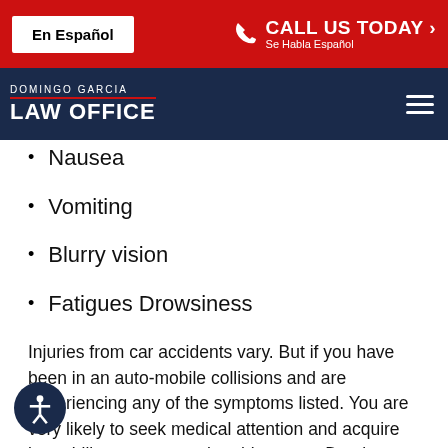En Español | CALL US TODAY Se Habla Español
DOMINGO GARCIA LAW OFFICE
Nausea
Vomiting
Blurry vision
Fatigues Drowsiness
Injuries from car accidents vary. But if you have been in an auto-mobile collisions and are experiencing any of the symptoms listed. You are very likely to seek medical attention and acquire large bills you may not be able to pay. Domingo Garcia will make sure you aren't stuck with those large nasty medical expenses. We'll demand that the insurance companies fork up the money to cover any bills